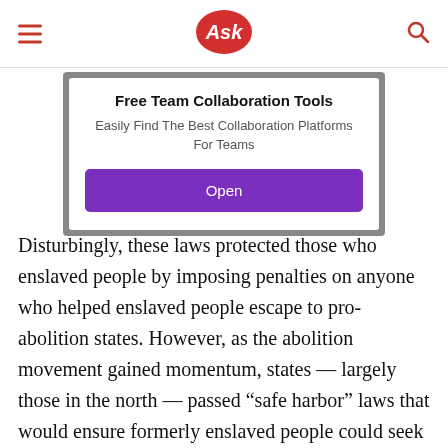Ask
[Figure (screenshot): Advertisement banner for Free Team Collaboration Tools with an Open button]
Disturbingly, these laws protected those who enslaved people by imposing penalties on anyone who helped enslaved people escape to pro-abolition states. However, as the abolition movement gained momentum, states — largely those in the north — passed “safe harbor” laws that would ensure formerly enslaved people could seek refuge, and that those who helped them would not be penalized.